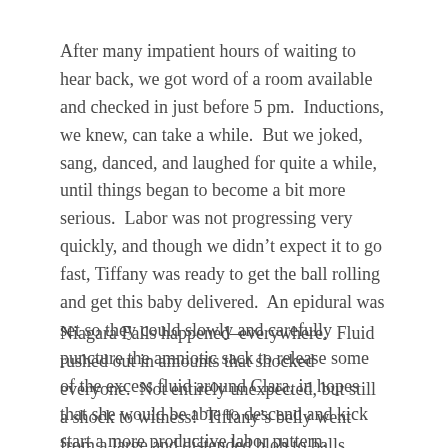After many impatient hours of waiting to hear back, we got word of a room available and checked in just before 5 pm.  Inductions, we knew, can take a while.  But we joked, sang, danced, and laughed for quite a while, until things began to become a bit more serious.  Labor was not progressing very quickly, and though we didn't expect it to go fast, Tiffany was ready to get the ball rolling and get this baby delivered.  An epidural was set so they could slowly and carefully puncture the amniotic sack to release some of the excess fluid around Clara, in hopes that she would be able to descend and kick start a more productive labor pattern.
Niagara Falls happened–everywhere.  Fluid rushed out in amounts that shocked everyone.  Not entirely unexpected, but still a shock to witness!  Tiffany's belly went from a large and distended blob to balls...